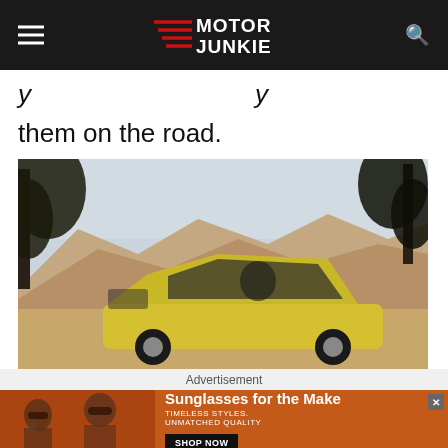Motor Junkie
them on the road.
[Figure (photo): A yellow classic sports car parked at a scenic overlook with rolling mountains in the background and pine trees framing the shot. A person is visible in the driver seat.]
Advertisement
[Figure (photo): Advertisement banner: two women wearing stylish sunglasses against an orange background. Text reads 'Sunglasses for the Make. TIMELESS STYLES. UNMATCHED QUALITY. SHOP NOW']